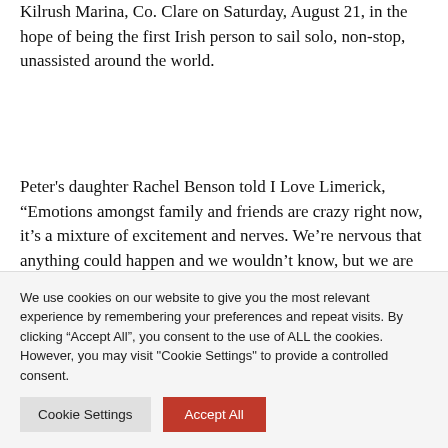Kilrush Marina, Co. Clare on Saturday, August 21, in the hope of being the first Irish person to sail solo, non-stop, unassisted around the world.
Peter's daughter Rachel Benson told I Love Limerick, “Emotions amongst family and friends are crazy right now, it’s a mixture of excitement and nerves. We’re nervous that anything could happen and we wouldn’t know, but we are still excited for him.”
Peter’s father Pat Lawless also circumnavigated the world
We use cookies on our website to give you the most relevant experience by remembering your preferences and repeat visits. By clicking “Accept All”, you consent to the use of ALL the cookies. However, you may visit "Cookie Settings" to provide a controlled consent.